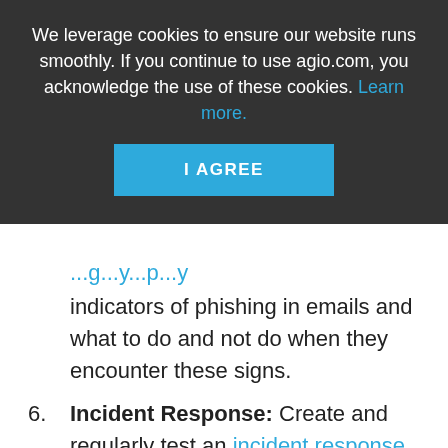We leverage cookies to ensure our website runs smoothly. If you continue to use agio.com, you acknowledge the use of these cookies. Learn more.
I AGREE
indicators of phishing in emails and what to do and not do when they encounter these signs.
6. Incident Response: Create and regularly test an incident response plan so the company knows what to do when a cyber incident occurs. Confirm appropriate personnel will be alerted to indicators of an attack or compromise, especially outside of normal business hours.